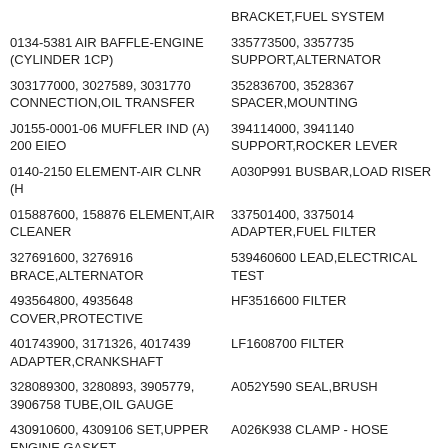BRACKET,FUEL SYSTEM (partial, top of page)
0134-5381 AIR BAFFLE-ENGINE (CYLINDER 1CP)
335773500, 3357735 SUPPORT,ALTERNATOR
303177000, 3027589, 3031770 CONNECTION,OIL TRANSFER
352836700, 3528367 SPACER,MOUNTING
J0155-0001-06 MUFFLER IND (A) 200 EIEO
394114000, 3941140 SUPPORT,ROCKER LEVER
0140-2150 ELEMENT-AIR CLNR (H
A030P991 BUSBAR,LOAD RISER
015887600, 158876 ELEMENT,AIR CLEANER
337501400, 3375014 ADAPTER,FUEL FILTER
327691600, 3276916 BRACE,ALTERNATOR
539460600 LEAD,ELECTRICAL TEST
493564800, 4935648 COVER,PROTECTIVE
HF3516600 FILTER
401743900, 3171326, 4017439 ADAPTER,CRANKSHAFT
LF1608700 FILTER
328089300, 3280893, 3905779, 3906758 TUBE,OIL GAUGE
A052Y590 SEAL,BRUSH
430910600, 4309106 SET,UPPER ENGINE GASKET
A026K938 CLAMP - HOSE
493097200, 4930972 TUBE,OIL WATER OUTLET (partial)
0110-4040 HEAD-CYLINDER (partial)